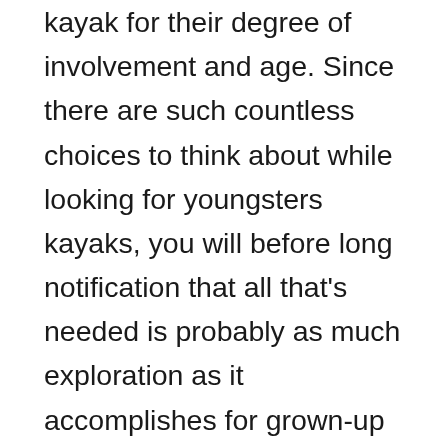kayak for their degree of involvement and age. Since there are such countless choices to think about while looking for youngsters kayaks, you will before long notification that all that's needed is probably as much exploration as it accomplishes for grown-up kayaks.